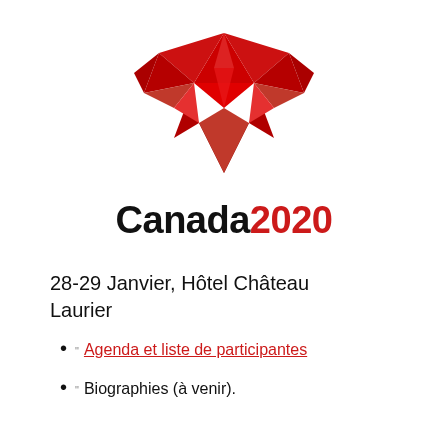[Figure (logo): Canada 2020 maple leaf logo in red, stylized geometric maple leaf shape]
Canada 2020
28-29 Janvier, Hôtel Château Laurier
Agenda et liste de participantes
Biographies (à venir).